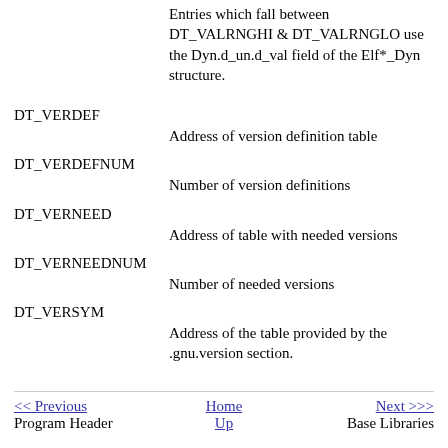DT_VALRNGLO — Entries which fall between DT_VALRNGHI & DT_VALRNGLO use the Dyn.d_un.d_val field of the Elf*_Dyn structure.
DT_VERDEF — Address of version definition table
DT_VERDEFNUM — Number of version definitions
DT_VERNEED — Address of table with needed versions
DT_VERNEEDNUM — Number of needed versions
DT_VERSYM — Address of the table provided by the .gnu.version section.
<< Previous | Home | Next >>> | Program Header | Up | Base Libraries